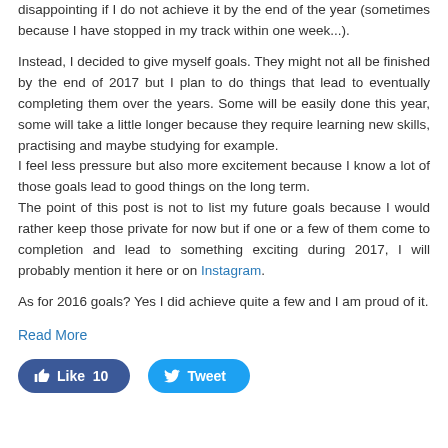disappointing if I do not achieve it by the end of the year (sometimes because I have stopped in my track within one week...).
Instead, I decided to give myself goals. They might not all be finished by the end of 2017 but I plan to do things that lead to eventually completing them over the years. Some will be easily done this year, some will take a little longer because they require learning new skills, practising and maybe studying for example.
I feel less pressure but also more excitement because I know a lot of those goals lead to good things on the long term.
The point of this post is not to list my future goals because I would rather keep those private for now but if one or a few of them come to completion and lead to something exciting during 2017, I will probably mention it here or on Instagram.
As for 2016 goals? Yes I did achieve quite a few and I am proud of it.
Read More
[Figure (other): Like button showing thumbs up icon with count 10 and Tweet button with bird icon]